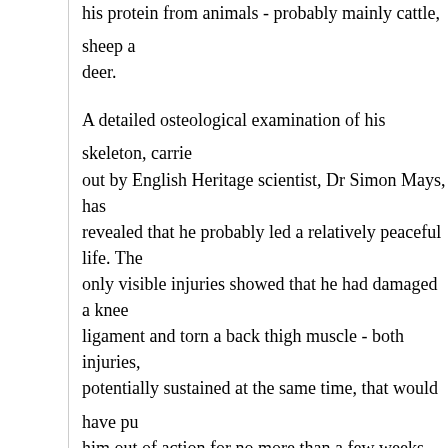his protein from animals - probably mainly cattle, sheep and deer.
A detailed osteological examination of his skeleton, carried out by English Heritage scientist, Dr Simon Mays, has revealed that he probably led a relatively peaceful life. The only visible injuries showed that he had damaged a knee ligament and torn a back thigh muscle - both injuries, potentially sustained at the same time, that would have put him out of action for no more than a few weeks.
There is also no evidence of severe illness - and an examination of hypoplasia (tooth enamel deformation) levels suggest that at least his childhood was free of nutritional stress or severe disease. Hypoplasia provides a record of stress through a person's childhood and early teenage years.
But he seems to have died relatively young, probably in his late 20s or 30s. At present it is not known what caused his death.
However, he was probably given an impressive funeral - and certainly buried in a ritually very important location.
Initially his body was almost certainly covered by a turf mound, but some years or decades later, this mound was massively enlarged to form a very distinctive dome-shaped...